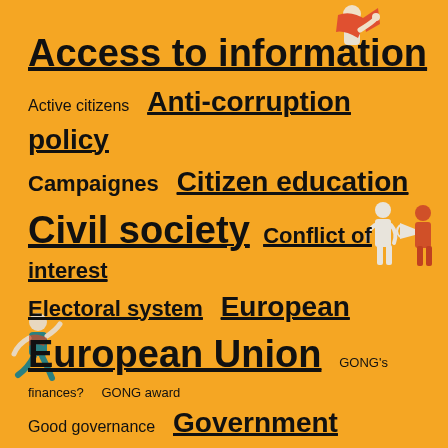[Figure (illustration): Decorative illustration of a person with red flag/banner at top center]
[Figure (illustration): Decorative illustration of two people talking on the right side]
[Figure (illustration): Decorative illustration of a running person on the left side]
Access to information  Active citizens  Anti-corruption policy  Campaignes  Citizen education  Civil society  Conflict of interest  Electoral system  European  European Union  GONG's finances?  GONG award  Good governance  Government  How can I contribute?  International cooperation  Local  Local authorities  Media  Minority  Money in politics  Parliament  Parliamentary
Tag cloud for GONG organization topics